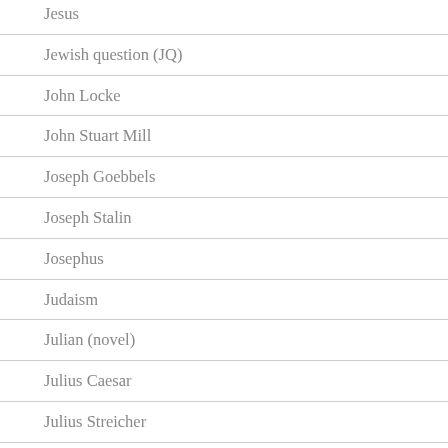Jesus
Jewish question (JQ)
John Locke
John Stuart Mill
Joseph Goebbels
Joseph Stalin
Josephus
Judaism
Julian (novel)
Julius Caesar
Julius Streicher
Justice